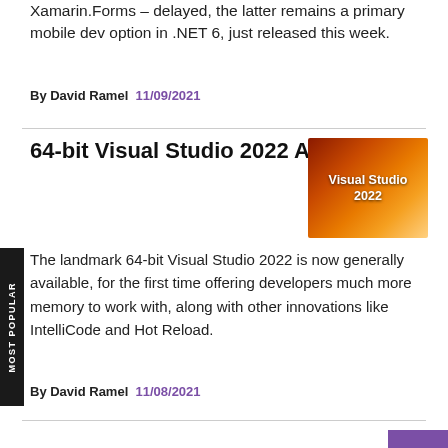Xamarin.Forms – delayed, the latter remains a primary mobile dev option in .NET 6, just released this week.
By David Ramel  11/09/2021
64-bit Visual Studio 2022 Arrives
[Figure (photo): Visual Studio 2022 thumbnail image with orange/fire background and white text reading 'Visual Studio 2022']
The landmark 64-bit Visual Studio 2022 is now generally available, for the first time offering developers much more memory to work with, along with other innovations like IntelliCode and Hot Reload.
By David Ramel  11/08/2021